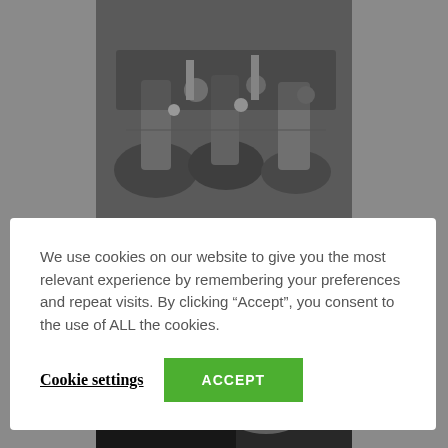[Figure (photo): Industrial machinery photo showing metal tanks and equipment in grayscale]
[Figure (photo): Close-up photo of industrial rollers or film spools, dark tones]
We use cookies on our website to give you the most relevant experience by remembering your preferences and repeat visits. By clicking “Accept”, you consent to the use of ALL the cookies.
Cookie settings
ACCEPT